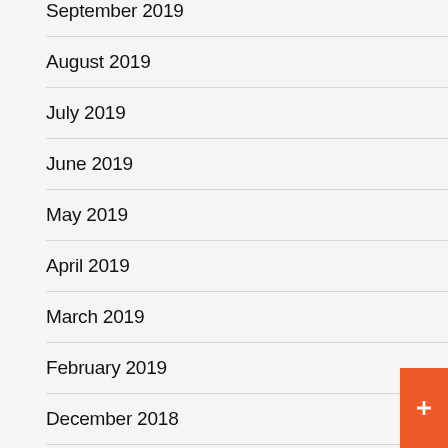September 2019
August 2019
July 2019
June 2019
May 2019
April 2019
March 2019
February 2019
December 2018
October 2018